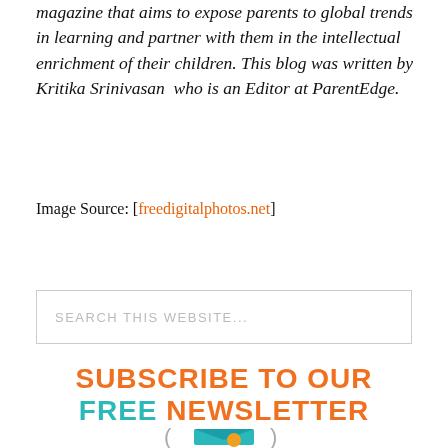magazine that aims to expose parents to global trends in learning and partner with them in the intellectual enrichment of their children. This blog was written by Kritika Srinivasan who is an Editor at ParentEdge.
Image Source: [freedigitalphotos.net]
SEARCH THIS WEBSITE...
SUBSCRIBE TO OUR FREE NEWSLETTER